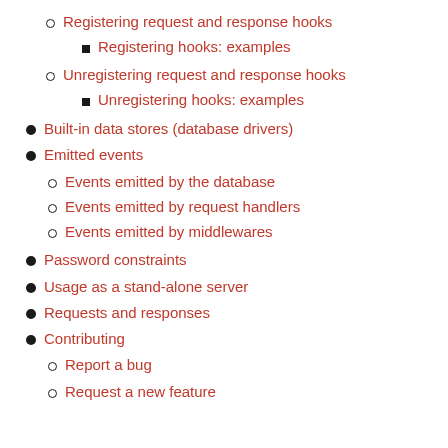Registering request and response hooks
Registering hooks: examples
Unregistering request and response hooks
Unregistering hooks: examples
Built-in data stores (database drivers)
Emitted events
Events emitted by the database
Events emitted by request handlers
Events emitted by middlewares
Password constraints
Usage as a stand-alone server
Requests and responses
Contributing
Report a bug
Request a new feature